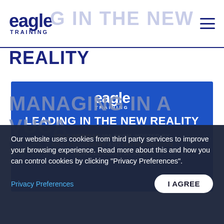eagle TRAINING — LEADING IN THE NEW
REALITY
[Figure (infographic): Eagle Training promotional banner for 'Leading in the New Reality' free webinar via Zoom, hosted by Adrian Newbery and Ian Henderson, 4th February at 3 PM]
Our website uses cookies from third party services to improve your browsing experience. Read more about this and how you can control cookies by clicking "Privacy Preferences".
Privacy Preferences
I AGREE